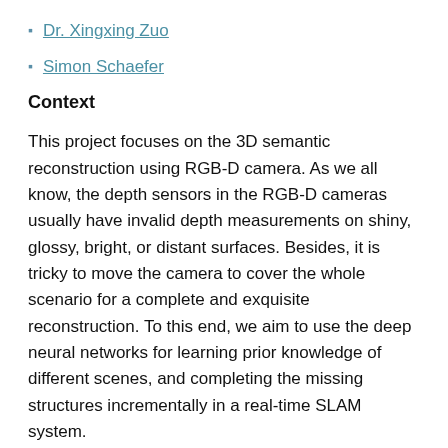Dr. Xingxing Zuo
Simon Schaefer
Context
This project focuses on the 3D semantic reconstruction using RGB-D camera. As we all know, the depth sensors in the RGB-D cameras usually have invalid depth measurements on shiny, glossy, bright, or distant surfaces. Besides, it is tricky to move the camera to cover the whole scenario for a complete and exquisite reconstruction. To this end, we aim to use the deep neural networks for learning prior knowledge of different scenes, and completing the missing structures incrementally in a real-time SLAM system.
LiDAR Inertial Camera